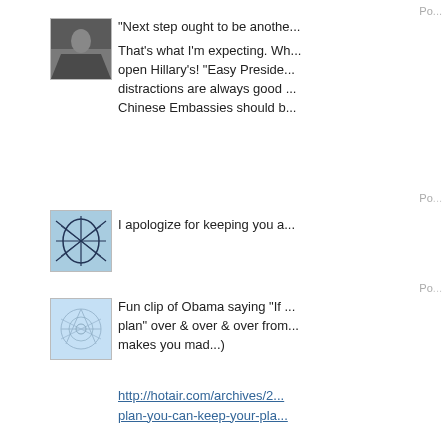Po...
[Figure (photo): Avatar photo of a person in a rocky outdoor setting]
"Next step ought to be anothe...
That's what I'm expecting. Wh... open Hillary's! "Easy Preside... distractions are always good... Chinese Embassies should b...
Po...
[Figure (illustration): Abstract line drawing on blue background]
I apologize for keeping you a...
Po...
[Figure (illustration): Abstract blue crystalline/neural pattern illustration]
Fun clip of Obama saying "If... plan" over & over & over from... makes you mad...)
http://hotair.com/archives/2... plan-you-can-keep-your-pla...